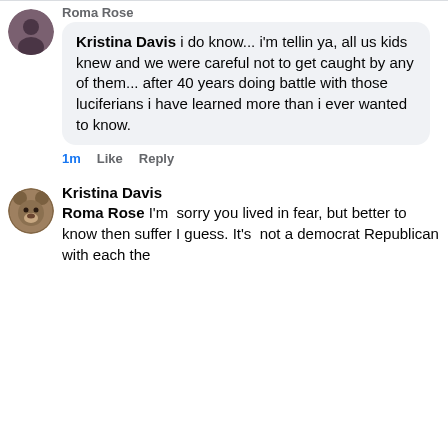Roma Rose (partial name header above first comment)
Kristina Davis i do know... i'm tellin ya, all us kids knew and we were careful not to get caught by any of them... after 40 years doing battle with those luciferians i have learned more than i ever wanted to know.
1m  Like  Reply
Kristina Davis
Roma Rose I'm  sorry you lived in fear, but better to know then suffer I guess. It's  not a democrat Republican with each the